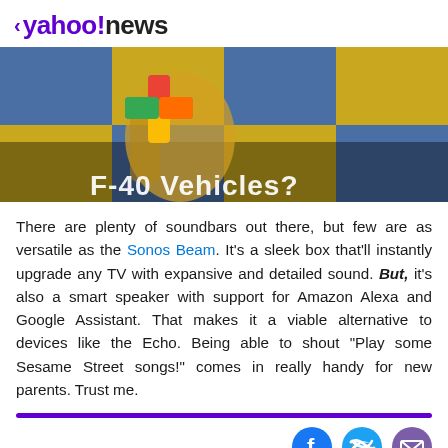< yahoo!news
[Figure (photo): Hero image showing a colorful blue and yellow checkered pattern with a person wearing a colorful jacket/bag visible, with a Google-like colorful plus icon overlay and partial white text reading something like 'F-40 Vehicles?' at the bottom]
There are plenty of soundbars out there, but few are as versatile as the Sonos Beam. It's a sleek box that'll instantly upgrade any TV with expansive and detailed sound. But, it's also a smart speaker with support for Amazon Alexa and Google Assistant. That makes it a viable alternative to devices like the Echo. Being able to shout "Play some Sesame Street songs!" comes in really handy for new parents. Trust me.